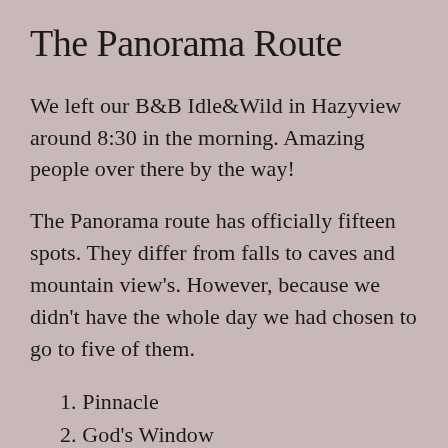The Panorama Route
We left our B&B Idle&Wild in Hazyview around 8:30 in the morning. Amazing people over there by the way!
The Panorama route has officially fifteen spots. They differ from falls to caves and mountain view's. However, because we didn't have the whole day we had chosen to go to five of them.
1. Pinnacle
2. God's Window
3. Bourke's Luck Potholers
4. Blyde River Canyon
5. Three Rondavels